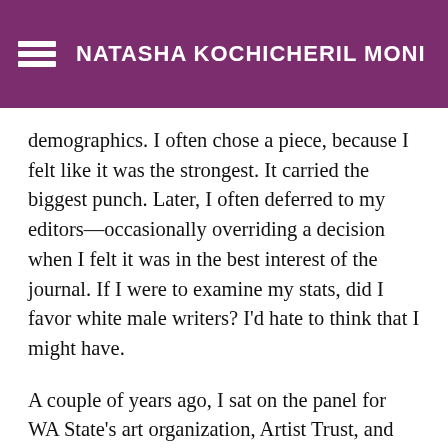NATASHA KOCHICHERIL MONI
demographics. I often chose a piece, because I felt like it was the strongest. It carried the biggest punch. Later, I often deferred to my editors—occasionally overriding a decision when I felt it was in the best interest of the journal. If I were to examine my stats, did I favor white male writers? I'd hate to think that I might have.
A couple of years ago, I sat on the panel for WA State's art organization, Artist Trust, and while I still lobbied for what I believed to be the strongest writers, I did find myself paying more attention to the quality of writing and representation (county, gender, ethnicity).